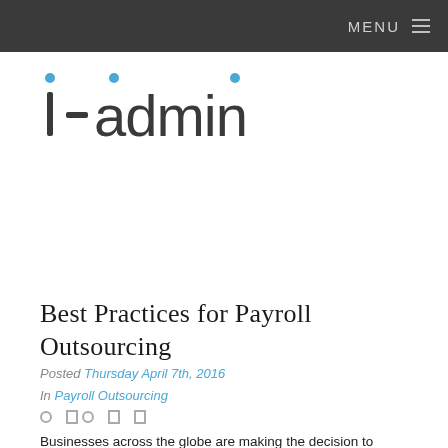MENU
[Figure (logo): i-admin logo in dark gray and blue]
Best Practices for Payroll Outsourcing
Posted Thursday April 7th, 2016
In Payroll Outsourcing
Businesses across the globe are making the decision to outsource their payroll functions. In fact, the global